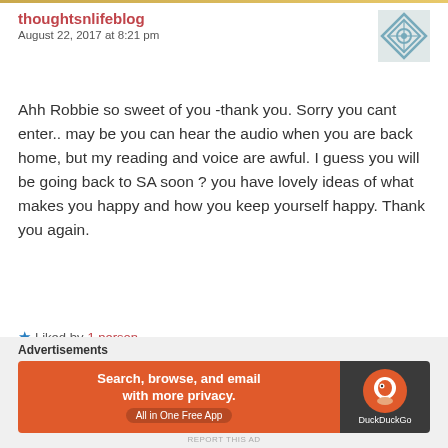thoughtsnlifeblog
August 22, 2017 at 8:21 pm
Ahh Robbie so sweet of you -thank you. Sorry you cant enter.. may be you can hear the audio when you are back home, but my reading and voice are awful. I guess you will be going back to SA soon ? you have lovely ideas of what makes you happy and how you keep yourself happy. Thank you again.
Liked by 1 person
Reply
Advertisements
[Figure (screenshot): DuckDuckGo advertisement banner: orange background with text 'Search, browse, and email with more privacy. All in One Free App' and DuckDuckGo logo on dark background]